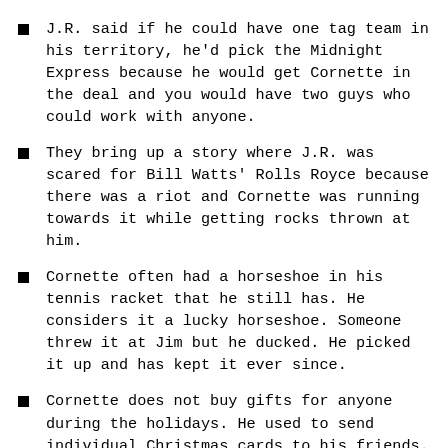J.R. said if he could have one tag team in his territory, he'd pick the Midnight Express because he would get Cornette in the deal and you would have two guys who could work with anyone.
They bring up a story where J.R. was scared for Bill Watts' Rolls Royce because there was a riot and Cornette was running towards it while getting rocks thrown at him.
Cornette often had a horseshoe in his tennis racket that he still has. He considers it a lucky horseshoe. Someone threw it at Jim but he ducked. He picked it up and has kept it ever since.
Cornette does not buy gifts for anyone during the holidays. He used to send individual Christmas cards to his friends. The cards these days are so impersonal and they cost $6 a piece.
Jim does not like malls and is not a vegan.
After beating cancer, Dennis decided he wanted to see people and enjoy himself. There was a guy doing a 20th